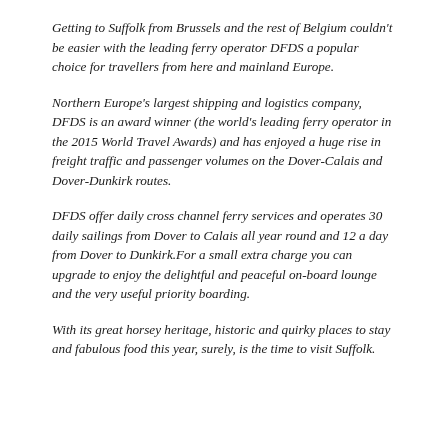Getting to Suffolk from Brussels and the rest of Belgium couldn't be easier with the leading ferry operator DFDS a popular choice for travellers from here and mainland Europe.
Northern Europe's largest shipping and logistics company, DFDS is an award winner (the world's leading ferry operator in the 2015 World Travel Awards) and has enjoyed a huge rise in freight traffic and passenger volumes on the Dover-Calais and Dover-Dunkirk routes.
DFDS offer daily cross channel ferry services and operates 30 daily sailings from Dover to Calais all year round and 12 a day from Dover to Dunkirk.For a small extra charge you can upgrade to enjoy the delightful and peaceful on-board lounge and the very useful priority boarding.
With its great horsey heritage, historic and quirky places to stay and fabulous food this year, surely, is the time to visit Suffolk.